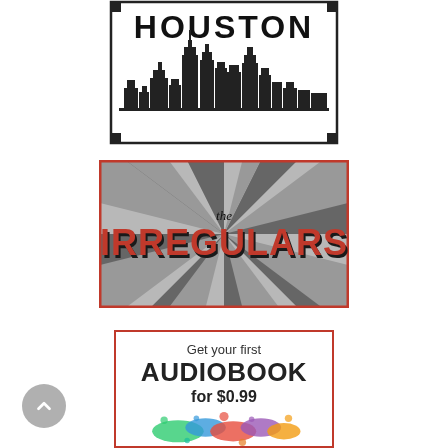[Figure (logo): Houston city skyline logo with the word HOUSTON in bold block letters at the top and a detailed black silhouette of the Houston skyline below, all enclosed in a rectangular border]
[Figure (logo): The Irregulars logo with 'the' in cursive script and 'IRREGULARS' in bold red 3D letters on a sunburst/radiating stripes background in black and grey tones, enclosed in a red border]
[Figure (infographic): Advertisement panel with red border: text reads 'Get your first AUDIOBOOK for $0.99' with colorful paint splash graphic at the bottom]